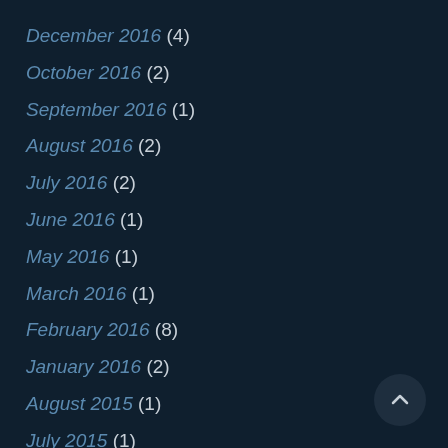December 2016 (4)
October 2016 (2)
September 2016 (1)
August 2016 (2)
July 2016 (2)
June 2016 (1)
May 2016 (1)
March 2016 (1)
February 2016 (8)
January 2016 (2)
August 2015 (1)
July 2015 (1)
May 2015 (1)
April 2015 (6)
March 2015 (2)